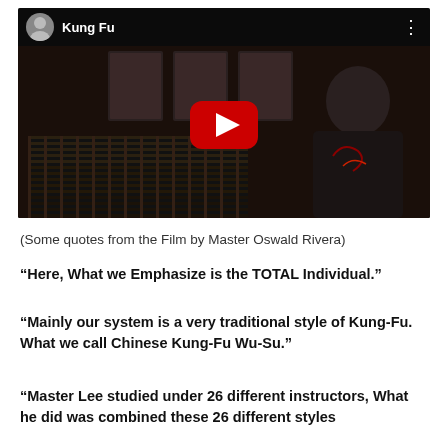[Figure (screenshot): YouTube video thumbnail showing a man in a black shirt in a martial arts setting, with a YouTube play button overlay. The video title bar shows 'Kung Fu' with a channel avatar icon and three-dot menu.]
(Some quotes from the Film by Master Oswald Rivera)
“Here, What we Emphasize is the TOTAL Individual.”
“Mainly our system is a very traditional style of Kung-Fu. What we call Chinese Kung-Fu Wu-Su.”
“Master Lee studied under 26 different instructors, What he did was combined these 26 different styles